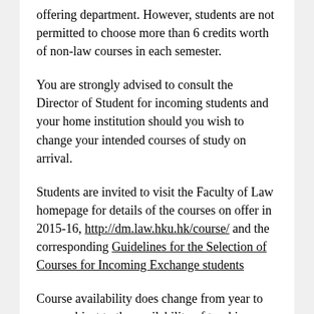offering department. However, students are not permitted to choose more than 6 credits worth of non-law courses in each semester.
You are strongly advised to consult the Director of Student for incoming students and your home institution should you wish to change your intended courses of study on arrival.
Students are invited to visit the Faculty of Law homepage for details of the courses on offer in 2015-16, http://dm.law.hku.hk/course/ and the corresponding Guidelines for the Selection of Courses for Incoming Exchange students
Course availability does change from year to year, subject to the availability of teaching resources and student enrolment. However, the majority of LLB courses will usually be offered. Exchange students are usually given more flexibility in selecting their courses. Hence, final course selection and